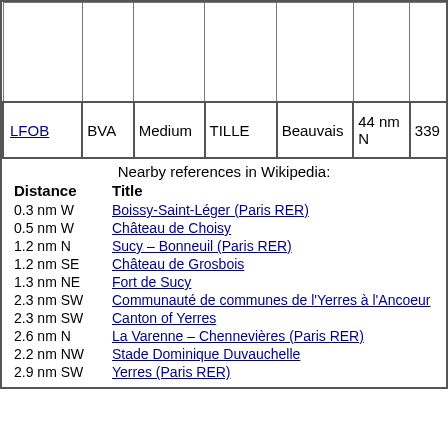|  |  |  |  |  |  |  |
| --- | --- | --- | --- | --- | --- | --- |
|  |  |  |  |  |  |  |
| LFOB | BVA | Medium | TILLE | Beauvais | 44 nm N | 339 |
| Distance | Title |
| --- | --- |
| 0.3 nm W | Boissy-Saint-Léger (Paris RER) |
| 0.5 nm W | Château de Choisy |
| 1.2 nm N | Sucy – Bonneuil (Paris RER) |
| 1.2 nm SE | Château de Grosbois |
| 1.3 nm NE | Fort de Sucy |
| 2.3 nm SW | Communauté de communes de l'Yerres à l'Ancoeur |
| 2.3 nm SW | Canton of Yerres |
| 2.6 nm N | La Varenne – Chennevières (Paris RER) |
| 2.2 nm NW | Stade Dominique Duvauchelle |
| 2.9 nm SW | Yerres (Paris RER) |